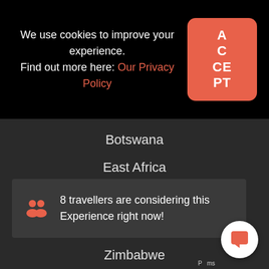We use cookies to improve your experience. Find out more here: Our Privacy Policy
ACCEPT
DESTINATIONS
Botswana
East Africa
Indian Ocean Islands
Madagascar
8 travellers are considering this Experience right now!
Zimbabwe